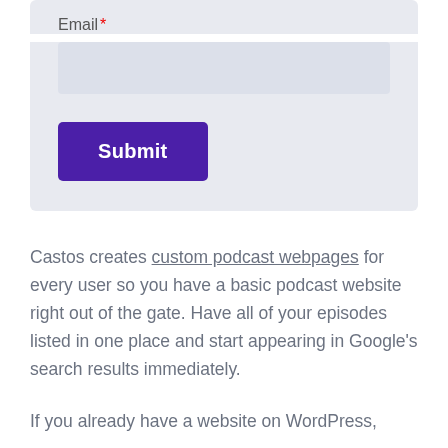Email *
[Figure (screenshot): Empty email input field with light blue-gray background]
Submit
Castos creates custom podcast webpages for every user so you have a basic podcast website right out of the gate. Have all of your episodes listed in one place and start appearing in Google’s search results immediately.
If you already have a website on WordPress,